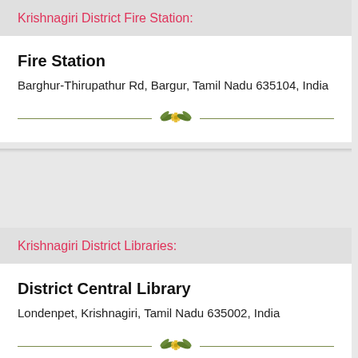Krishnagiri District Fire Station:
Fire Station
Barghur-Thirupathur Rd, Bargur, Tamil Nadu 635104, India
Krishnagiri District Libraries:
District Central Library
Londenpet, Krishnagiri, Tamil Nadu 635002, India